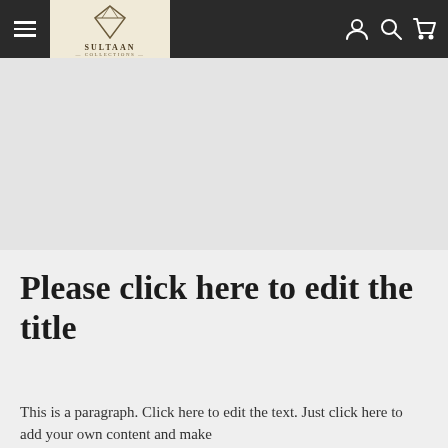SULTAAN COLLECTIONS — navigation bar with hamburger menu, logo, user/search/cart icons
[Figure (other): Hero banner area — light gray placeholder image region]
Please click here to edit the title
This is a paragraph. Click here to edit the text. Just click here to add your own content and make